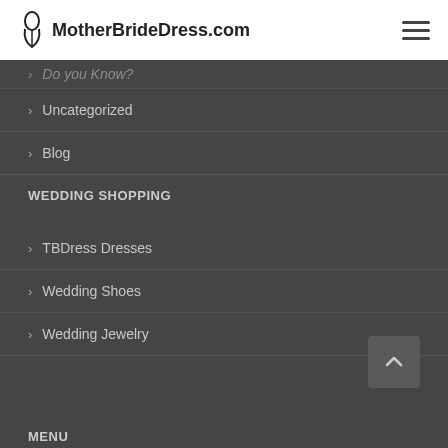MotherBrideDress.com
Do you Know?
Uncategorized
Blog
WEDDING SHOPPING
TBDress Dresses
Wedding Shoes
Wedding Jewelry
MENU
Home